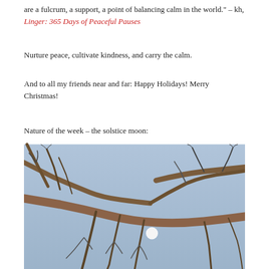are a fulcrum, a support, a point of balancing calm in the world." – kh, Linger: 365 Days of Peaceful Pauses
Nurture peace, cultivate kindness, and carry the calm.
And to all my friends near and far: Happy Holidays! Merry Christmas!
Nature of the week – the solstice moon:
[Figure (photo): A photograph looking upward through bare winter tree branches against a blue-grey sky, with a bright full moon visible through the branches in the lower-center of the image.]